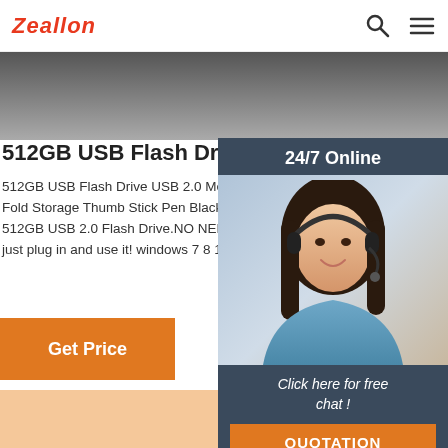Zeallon
512GB USB Flash Drive USB 2.0 Metal Whistle Flash
512GB USB Flash Drive USB 2.0 Metal Whistle Flas... Fold Storage Thumb Stick Pen Black, GREAT VALUE... 512GB USB 2.0 Flash Drive.NO NEED TO INSTALL A... just plug in and use it! windows 7 8 10 Vista XP 2C
Get Price
[Figure (photo): Customer service representative woman with headset smiling, with 24/7 Online header and Click here for free chat! text and QUOTATION button on dark blue background]